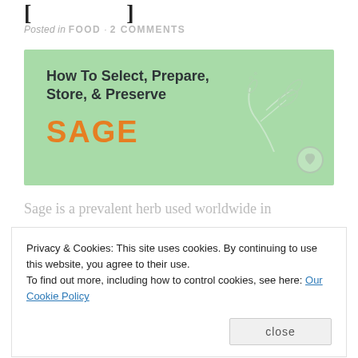[…g p…]
Posted in FOOD · 2 COMMENTS
[Figure (illustration): Green banner image with text 'How To Select, Prepare, Store, & Preserve SAGE' with a sage leaf illustration and a small heart circle icon in the bottom right corner.]
Sage is a prevalent herb used worldwide in
Privacy & Cookies: This site uses cookies. By continuing to use this website, you agree to their use.
To find out more, including how to control cookies, see here: Our Cookie Policy